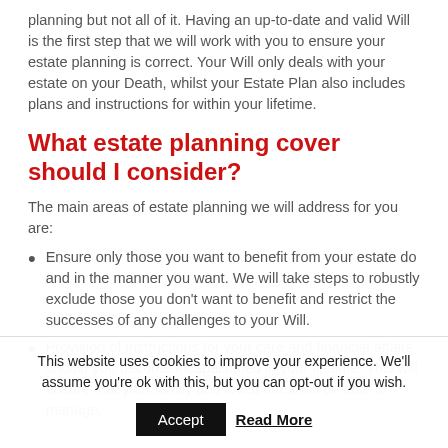planning but not all of it. Having an up-to-date and valid Will is the first step that we will work with you to ensure your estate planning is correct. Your Will only deals with your estate on your Death, whilst your Estate Plan also includes plans and instructions for within your lifetime.
What estate planning cover should I consider?
The main areas of estate planning we will address for you are:
Ensure only those you want to benefit from your estate do and in the manner you want. We will take steps to robustly exclude those you don't want to benefit and restrict the successes of any challenges to your Will.
Provision of instructions for your care and financial affairs should you become incapacitated in your lifetime. This will ensure that your family and loved ones will be able to manage.
This website uses cookies to improve your experience. We'll assume you're ok with this, but you can opt-out if you wish. Accept   Read More